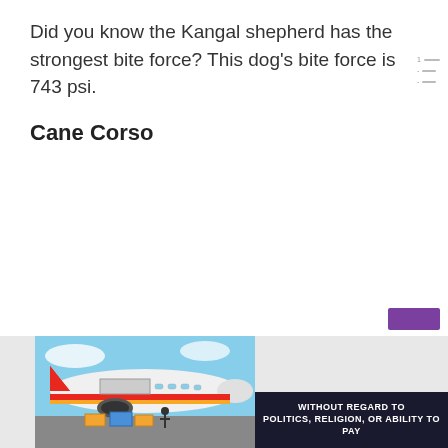Did you know the Kangal shepherd has the strongest bite force? This dog's bite force is 743 psi.
Cane Corso
[Figure (photo): Advertisement banner showing an airplane being loaded with cargo, with a dark overlay text box reading 'WITHOUT REGARD TO POLITICS, RELIGION, OR ABILITY TO PAY']